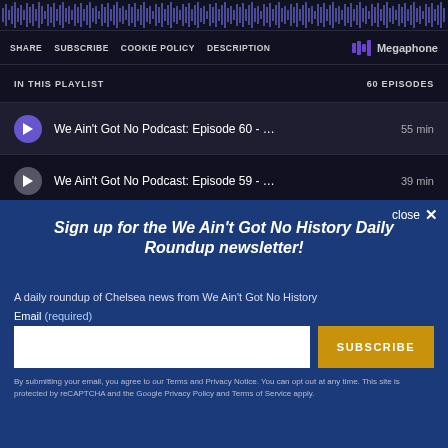[Figure (screenshot): Podcast player waveform visualization showing audio waveform bars in dark blue/black background]
SHARE   SUBSCRIBE   COOKIE POLICY   DESCRIPTION   Megaphone
IN THIS PLAYLIST   60 EPISODES
We Ain't Got No Podcast: Episode 60 - … 55 min
We Ain't Got No Podcast: Episode 59 - … 39 min
close ✕
Sign up for the We Ain't Got No History Daily Roundup newsletter!
A daily roundup of Chelsea news from We Ain't Got No History
Email (required)
SUBSCRIBE
By submitting your email, you agree to our Terms and Privacy Notice. You can opt out at any time. This site is protected by reCAPTCHA and the Google Privacy Policy and Terms of Service apply.